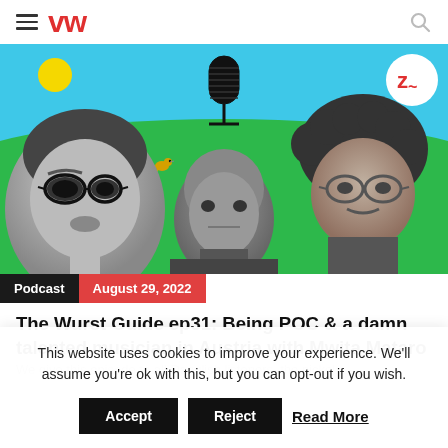VW
[Figure (photo): Hero image showing three people in black and white against a colorful illustrated background with blue sky, green hills, a large microphone illustration, small animal illustrations, and a circular logo in the top right corner]
Podcast   August 29, 2022
The Wurst Guide ep31: Being POC & a damn talented musician in Austria with Mwita Mataro
We give this episode to all Danglish listeners, the nickel...
This website uses cookies to improve your experience. We'll assume you're ok with this, but you can opt-out if you wish.